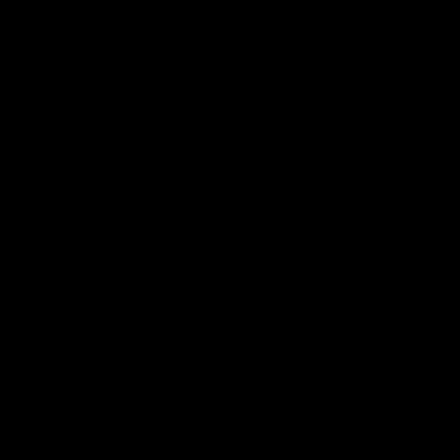[Figure (photo): Completely black image, no visible content or detail.]